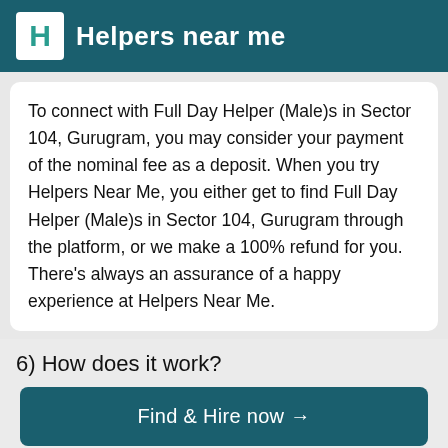Helpers near me
To connect with Full Day Helper (Male)s in Sector 104, Gurugram, you may consider your payment of the nominal fee as a deposit. When you try Helpers Near Me, you either get to find Full Day Helper (Male)s in Sector 104, Gurugram through the platform, or we make a 100% refund for you. There's always an assurance of a happy experience at Helpers Near Me.
6) How does it work?
Find & Hire now →
Full Day Helper (Male)s in Sector 104,